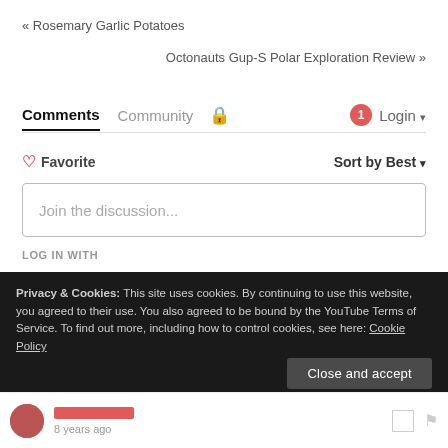« Rosemary Garlic Potatoes
Octonauts Gup-S Polar Exploration Review »
Comments  Community  🔒  1  Login ▾
♡ Favorite    Sort by Best ▾
Join the discussion...
LOG IN WITH
[Figure (logo): Social login icons: Disqus (blue speech bubble with D), Facebook (dark blue circle with f), Twitter (cyan circle with bird), Google (red circle with G)]
Privacy & Cookies: This site uses cookies. By continuing to use this website, you agreed to their use. You also agreed to be bound by the YouTube Terms of Service. To find out more, including how to control cookies, see here: Cookie Policy
Close and accept
8 years ago